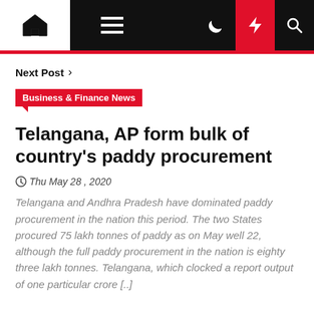Navigation bar with home, menu, dark mode, flash, and search icons
Next Post >
Business & Finance News
Telangana, AP form bulk of country's paddy procurement
Thu May 28 , 2020
Telangana and Andhra Pradesh have dominated paddy procurement in the nation this period. The two States procured 75 lakh tonnes of paddy as on May well 22, although the full paddy procurement in the nation is eighty three lakh tonnes. Telangana, which clocked a report output of one particular crore [..]